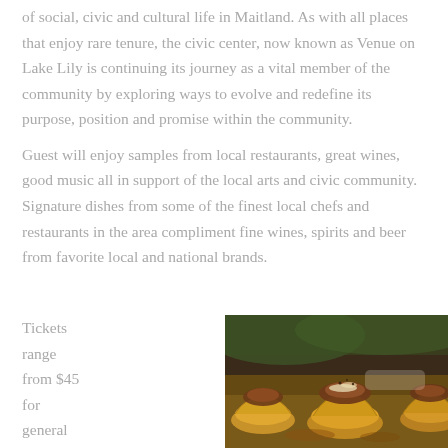of social, civic and cultural life in Maitland. As with all places that enjoy rare tenure, the civic center, now known as Venue on Lake Lily is continuing its journey as a vital member of the community by exploring ways to evolve and redefine its purpose, position and promise within the community.
Guest will enjoy samples from local restaurants, great wines, good music all in support of the local arts and civic community. Signature dishes from some of the finest local chefs and restaurants in the area compliment fine wines, spirits and beer from favorite local and national brands.
Tickets range from $45 for general admission to $800
[Figure (photo): Close-up photo of elegant appetizers or small bites — golden pastry cups topped with braised meat and garnish, plated with sauce, with green herb sprigs in the background.]